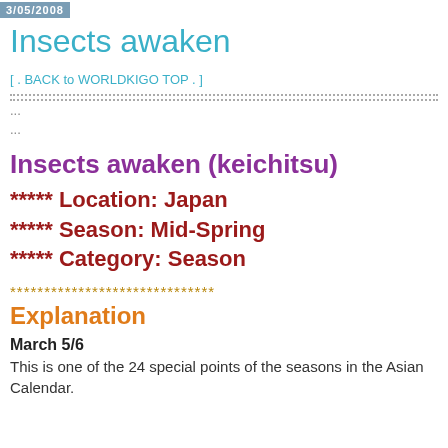3/05/2008
Insects awaken
[ . BACK to WORLDKIGO TOP . ]
...
...
Insects awaken (keichitsu)
***** Location: Japan
***** Season: Mid-Spring
***** Category: Season
******************************
Explanation
March 5/6
This is one of the 24 special points of the seasons in the Asian Calendar.